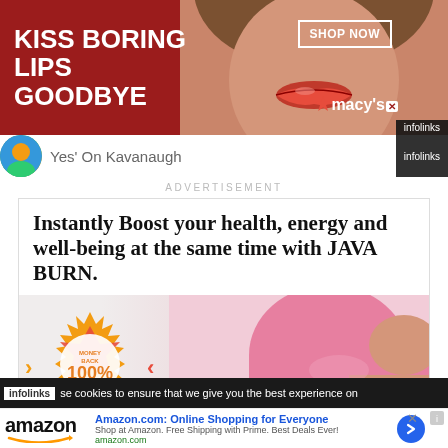[Figure (illustration): Macy's banner advertisement with red background, 'KISS BORING LIPS GOODBYE' text, woman's face with red lips, 'SHOP NOW' button and Macy's star logo. Infolinks badge.]
Yes On Kavanaugh
ADVERTISEMENT
[Figure (illustration): Java Burn health supplement advertisement. Headline: 'Instantly Boost your health, energy and well-being at the same time with JAVA BURN.' Below: image of woman in pink sports bra with 100% money back guarantee badge.]
se cookies to ensure that we give you the best experience on
[Figure (illustration): Amazon.com advertisement banner. Logo: amazon with smile. Title: 'Amazon.com: Online Shopping for Everyone'. Subtitle: 'Shop at Amazon. Free Shipping with Prime. Best Deals Ever!' URL: amazon.com. Blue arrow button on right. X close button. Infolinks badge.]